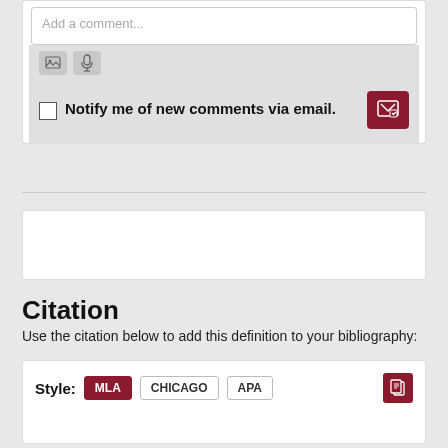[Figure (screenshot): Comment input box with placeholder text 'Add a comment...']
[Figure (screenshot): Toolbar with image and microphone icon buttons on gray background]
Notify me of new comments via email.
Citation
Use the citation below to add this definition to your bibliography:
Style: MLA  CHICAGO  APA